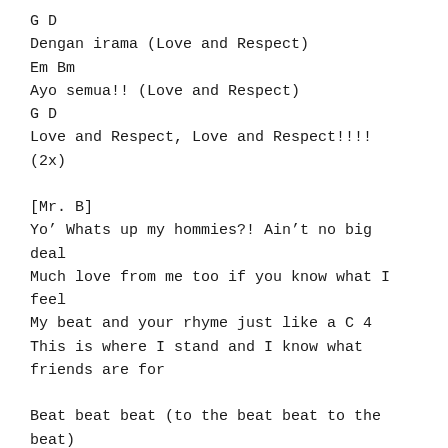G D
Dengan irama (Love and Respect)
Em Bm
Ayo semua!! (Love and Respect)
G D
Love and Respect, Love and Respect!!!!
(2x)

[Mr. B]
Yo' Whats up my hommies?! Ain't no big deal
Much love from me too if you know what I feel
My beat and your rhyme just like a C 4
This is where I stand and I know what friends are for

Beat beat beat (to the beat beat to the beat)